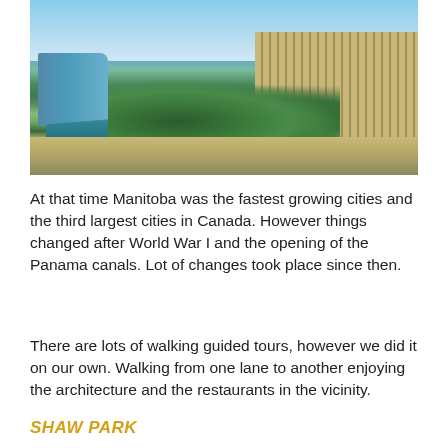[Figure (photo): Aerial view of a city area in Manitoba, Canada, showing buildings including a distinctive blue-roofed structure on the left, a large tan/beige multi-storey building on the right, trees in the middle ground, and blue sky with clouds in the background.]
At that time Manitoba was the fastest growing cities and the third largest cities in Canada. However things changed after World War I and the opening of the Panama canals. Lot of changes took place since then.
There are lots of walking guided tours, however we did it on our own. Walking from one lane to another enjoying the architecture and the restaurants in the vicinity.
SHAW PARK